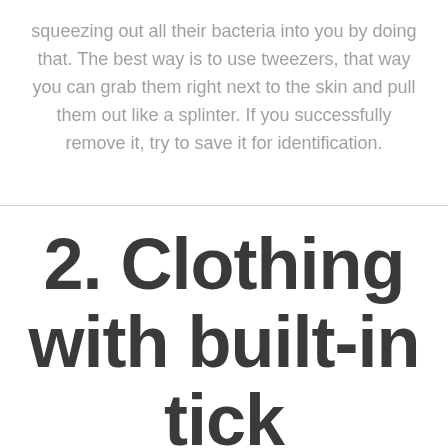squeezing out all their bacteria into you by doing that. The best way is to use tweezers, that way you can grab them right next to the skin and pull them out like a splinter. If you successfully remove it, try to save it for identification.
2. Clothing with built-in tick repellent is